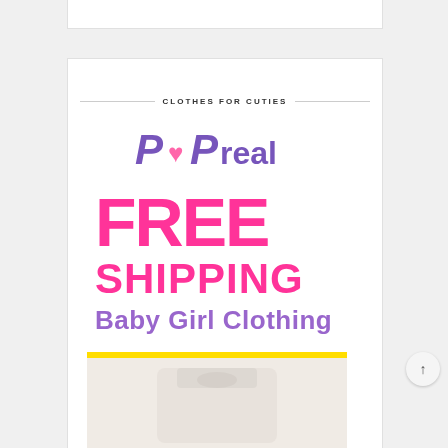CLOTHES FOR CUTIES
[Figure (logo): PopReal brand logo in purple stylized font with a pink heart]
FREE SHIPPING Baby Girl Clothing
[Figure (photo): Baby girl clothing item on light background below yellow bar]